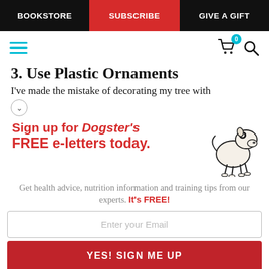BOOKSTORE | SUBSCRIBE | GIVE A GIFT
3. Use Plastic Ornaments
I've made the mistake of decorating my tree with
[Figure (infographic): Dogster newsletter signup ad with cartoon dog illustration. Text: Sign up for Dogster's FREE e-letters today. Get health advice, nutrition information and training tips from our experts. It's FREE! Email input field and YES! SIGN ME UP button.]